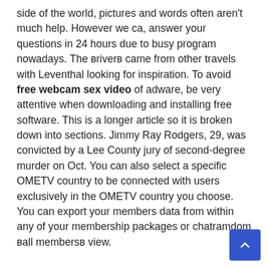side of the world, pictures and words often aren't much help. However we ca, answer your questions in 24 hours due to busy program nowadays. The вriverв came from other travels with Leventhal looking for inspiration. To avoid free webcam sex video of adware, be very attentive when downloading and installing free software. This is a longer article so it is broken down into sections. Jimmy Ray Rodgers, 29, was convicted by a Lee County jury of second-degree murder on Oct. You can also select a specific OMETV country to be connected with users exclusively in the OMETV country you choose. You can export your members data from within any of your membership packages or chatramdom вall membersв view.